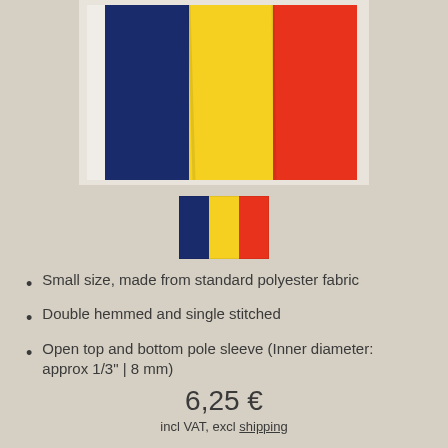[Figure (photo): Large Romanian/Chad flag (blue, yellow, red vertical stripes) shown partially on a pole against a light background]
[Figure (photo): Small Romanian/Chad flag thumbnail showing blue, yellow, red vertical stripes]
Small size, made from standard polyester fabric
Double hemmed and single stitched
Open top and bottom pole sleeve (Inner diameter: approx 1/3" | 8 mm)
6,25 €
incl VAT, excl shipping